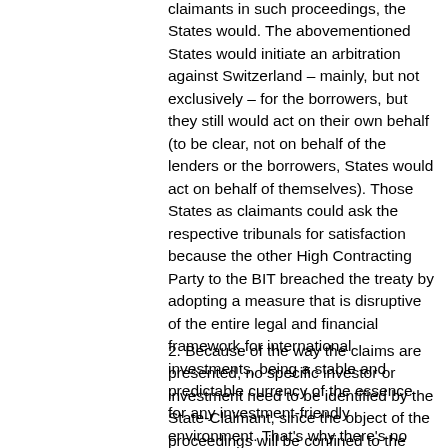claimants in such proceedings, the States would. The abovementioned States would initiate an arbitration against Switzerland – mainly, but not exclusively – for the borrowers, but they still would act on their own behalf (to be clear, not on behalf of the lenders or the borrowers, States would act on behalf of themselves). Those States as claimants could ask the respective tribunals for satisfaction because the other High Contracting Party to the BIT breached the treaty by adopting a measure that is disruptive of the entire legal and financial framework for international investments, being a stable and predictable currency of the essence for any investment-friendly environment. That's why there's no actual need for the lenders or the borrowers to be considered as qualified foreign investors under the applicable treaty (there would be such a need if these States espoused borrowers' or lenders' claims, like for example in the State-to-State investment arbitration Italy v. Cuba, where Italy sought redress on behalf of its investors).
2. Because of the way the claims are presented, no specific investor or investment need to be identified by the State-Claimant, since the object of the proceedings will be confined to the measure breaching the treaty (the